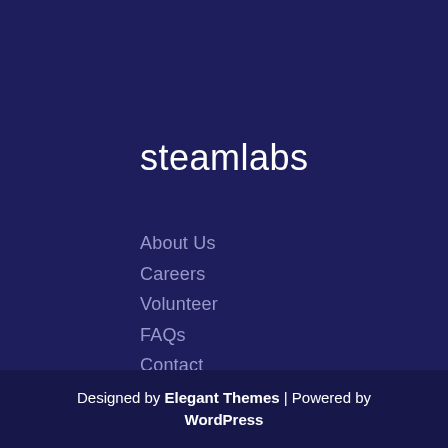steamlabs
About Us
Careers
Volunteer
FAQs
Contact
Designed by Elegant Themes | Powered by WordPress